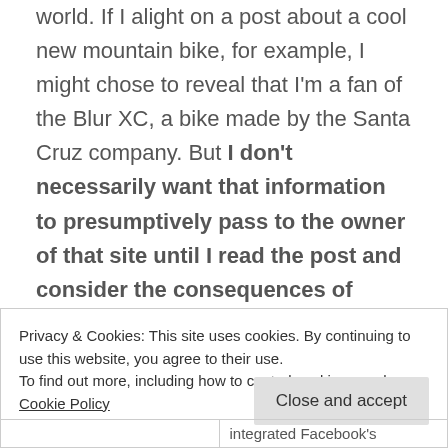world. If I alight on a post about a cool new mountain bike, for example, I might chose to reveal that I'm a fan of the Blur XC, a bike made by the Santa Cruz company. But I don't necessarily want that information to presumptively pass to the owner of that site until I read the post and consider the consequences of revealing that data.
Privacy & Cookies: This site uses cookies. By continuing to use this website, you agree to their use.
To find out more, including how to control cookies, see here: Cookie Policy
Close and accept
integrated Facebook's